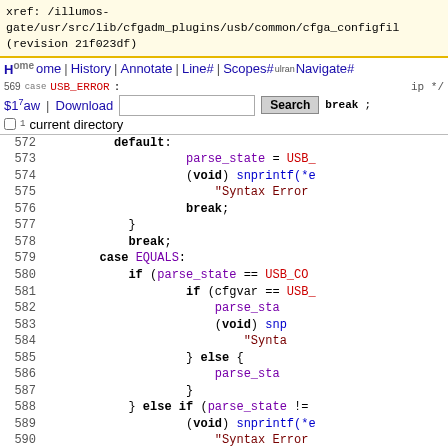xref: /illumos-gate/usr/src/lib/cfgadm_plugins/usb/common/cfga_configfil (revision 21f023df)
Navigation bar: Home | History | Annotate | Line# | Scopes# | Navigate# | Raw | Download | Search | current directory
[Figure (screenshot): Source code viewer showing C code lines 569-593 with syntax highlighting. Lines show switch/case statements including case USB_ERROR, break, default, parse_state = USB_, (void) snprintf(*e, Syntax Error, break, closing braces, break, case EQUALS, if (parse_state == USB_CO, if (cfgvar == USB_, parse_stat, (void) snp, Synta, } else {, parse_stat, }, } else if (parse_state !=, (void) snprintf(*e, Syntax Error, parse_state = USB_, }, break.]